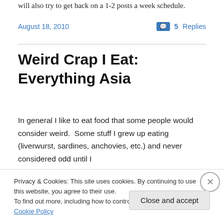will also try to get back on a 1-2 posts a week schedule.
August 18, 2010
5 Replies
Weird Crap I Eat: Everything Asia
In general I like to eat food that some people would consider weird.  Some stuff I grew up eating (liverwurst, sardines, anchovies, etc.) and never considered odd until I
Privacy & Cookies: This site uses cookies. By continuing to use this website, you agree to their use.
To find out more, including how to control cookies, see here: Cookie Policy
Close and accept